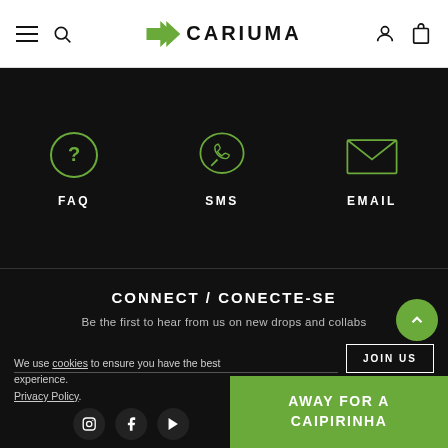CARIUMA - Navigation header with hamburger menu, search, logo, user and cart icons
[Figure (infographic): Three contact options on black background: FAQ (chat bubble with question mark icon), SMS (WhatsApp-style phone bubble icon), EMAIL (envelope icon)]
CONNECT / CONECTE-SE
Be the first to hear from us on new drops and collabs
JOIN US
We use cookies to ensure you have the best experience. Privacy Policy.
AWAY FOR A CAIPIRINHA